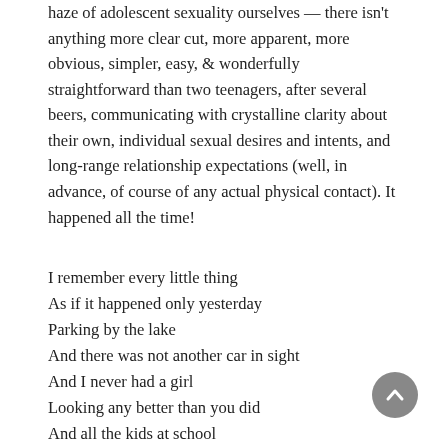haze of adolescent sexuality ourselves — there isn't anything more clear cut, more apparent, more obvious, simpler, easy, & wonderfully straightforward than two teenagers, after several beers, communicating with crystalline clarity about their own, individual sexual desires and intents, and long-range relationship expectations (well, in advance, of course of any actual physical contact). It happened all the time!
I remember every little thing
As if it happened only yesterday
Parking by the lake
And there was not another car in sight
And I never had a girl
Looking any better than you did
And all the kids at school
(Their lawyers, too)